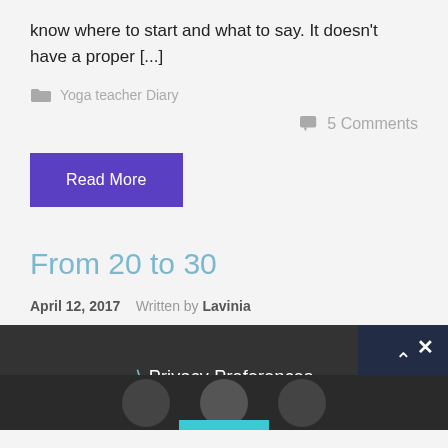know where to start and what to say. It doesn't have a proper [...]
Yoga teacher Diary
5 Comments
Read More
From 20 to 30
April 12, 2017   Written by Lavinia
Privacy Preferences